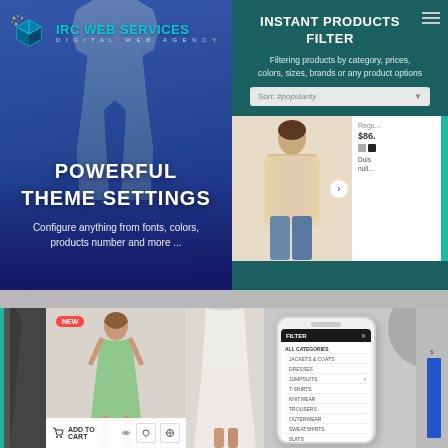[Figure (screenshot): IRC Web Services logo with blue cube icon and teal text reading 'IRC WEB SERVICES' and subtitle 'DIGITAL WEB AGENCY']
[Figure (screenshot): Left banner panel with fashion model silhouette and text: 'POWERFUL THEME SETTINGS - Configure anything from fonts, colors, products number and more ...' on blue gradient background]
[Figure (screenshot): Right panel showing 'INSTANT PRODUCTS FILTER' on teal background with description text and sort bar, plus product listing with fashion model image showing price $86, color swatches, and partial description text]
[Figure (screenshot): Bottom row showing: partial dark jacket image, product card with NEW badge and green dress model with ADD TO CART button, partial white dress image, phone mockup showing FILTER menu with ALL CATEGORIES, JACKETS & COATS, DRESSES, JUMPSUITS, T-SHIRTS, KNITWEAR, SUITS, OUTERWEAR, SWEATSHIRTS, SUITS, BAGS, ACCESSORIES, SHOW ALL categories and color swatches at bottom, and partial bar chart on far right edge]